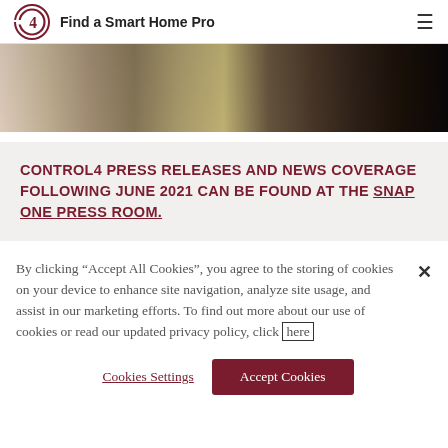Find a Smart Home Pro
[Figure (photo): Close-up photo of colorful book spines arranged on a shelf, showing warm browns, tans, reds, and dark tones fading to black on the right.]
CONTROL4 PRESS RELEASES AND NEWS COVERAGE FOLLOWING JUNE 2021 CAN BE FOUND AT THE SNAP ONE PRESS ROOM.
By clicking “Accept All Cookies”, you agree to the storing of cookies on your device to enhance site navigation, analyze site usage, and assist in our marketing efforts. To find out more about our use of cookies or read our updated privacy policy, click here
Cookies Settings
Accept Cookies